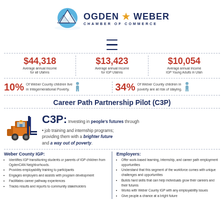Intergenerational Poverty in Weber County
[Figure (logo): Ogden Weber Chamber of Commerce logo with mountain graphic]
[Figure (infographic): Hamburger menu icon (three horizontal lines)]
$44,318 Average annual income for all Utahns | $13,423 Average annual income for IGP Utahns | $10,054 Average annual income IGP Young Adults in Utah
10% Of Weber County children live in Integernerational Poverty. | 34% Of Weber County children in poverty are at risk of staying.
Career Path Partnership Pilot (C3P)
[Figure (illustration): Orange forklift illustration with worker]
C3P: Investing in people's futures through job training and internship programs; providing them with a brighter future and a way out of poverty.
Weber County IGP:
Identifies IGP transitioning students or parents of IGP children from OgdenCAN Neighborhoods.
Provides employability training to participants
Engages employers and assists with program development
Facilitates career pathway experiences
Tracks results and reports to community stakeholders
Employers:
Offer work-based learning, internship, and career path employment opportunities
Understand that this segment of the workforce comes with unique challenges and opportunities
Builds hard skills that can help individuals grow their careers and their futures
Works with Weber County IGP with any employability issues
Give people a chance at a bright future